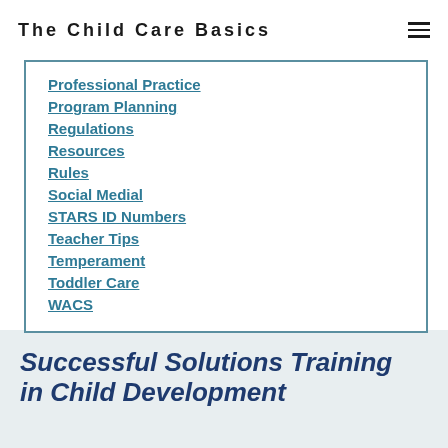The Child Care Basics
Professional Practice
Program Planning
Regulations
Resources
Rules
Social Medial
STARS ID Numbers
Teacher Tips
Temperament
Toddler Care
WACS
Successful Solutions Training in Child Development